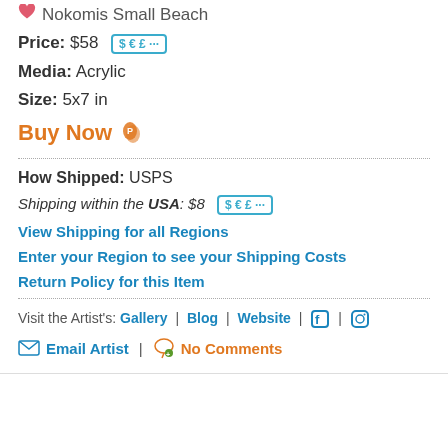Nokomis Small Beach
Price: $58  $ € £ …
Media: Acrylic
Size: 5x7 in
Buy Now
How Shipped: USPS
Shipping within the USA: $8  $ € £ …
View Shipping for all Regions
Enter your Region to see your Shipping Costs
Return Policy for this Item
Visit the Artist's: Gallery | Blog | Website | Facebook | Instagram
Email Artist | No Comments